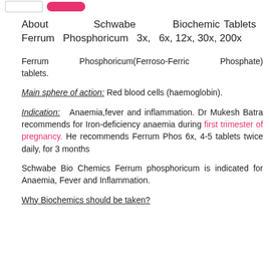[Figure (other): Two buttons at top: an outline rectangle button and a pink rounded pill button]
About Schwabe Biochemic Tablets Ferrum Phosphoricum 3x, 6x, 12x, 30x, 200x
Ferrum Phosphoricum(Ferroso-Ferric Phosphate) tablets.
Main sphere of action: Red blood cells (haemoglobin).
Indication: Anaemia,fever and inflammation. Dr Mukesh Batra recommends for Iron-deficiency anaemia during first trimester of pregnancy. He recommends Ferrum Phos 6x, 4-5 tablets twice daily, for 3 months
Schwabe Bio Chemics Ferrum phosphoricum is indicated for Anaemia, Fever and Inflammation.
Why Biochemics should be taken?